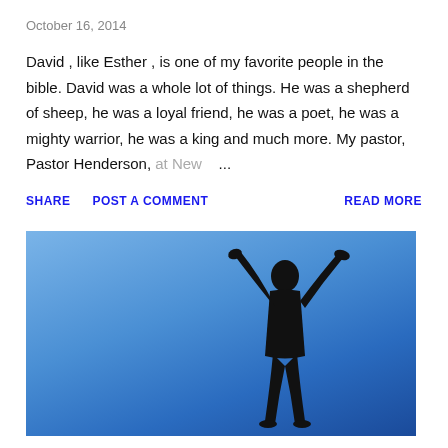October 16, 2014
David , like Esther , is one of my favorite people in the bible. David was a whole lot of things. He was a shepherd of sheep, he was a loyal friend, he was a poet, he was a mighty warrior, he was a king and much more. My pastor, Pastor Henderson, at New    ...
SHARE
POST A COMMENT
READ MORE
[Figure (photo): Silhouette of a person with arms raised wide against a blue sky background]